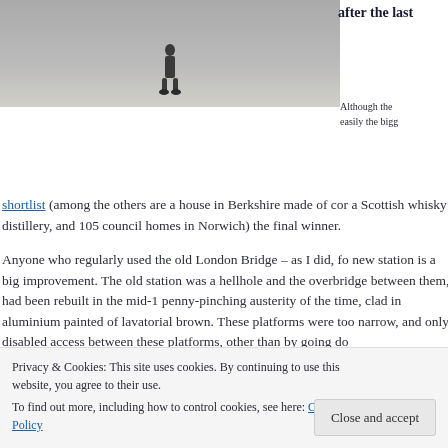[Figure (photo): Partial photo showing a person walking on a grey floor, lower body visible with dark shoes]
after the last
Although the easily the bigg
shortlist (among the others are a house in Berkshire made of cor a Scottish whisky distillery, and 105 council homes in Norwich) the final winner.
Anyone who regularly used the old London Bridge – as I did, fo new station is a big improvement. The old station was a hellhole and the overbridge between them, had been rebuilt in the mid-1 penny-pinching austerity of the time, clad in aluminium painted of lavatorial brown. These platforms were too narrow, and only disabled access between these platforms, other than by going do
Privacy & Cookies: This site uses cookies. By continuing to use this website, you agree to their use.
To find out more, including how to control cookies, see here: Cookie Policy
Close and accept